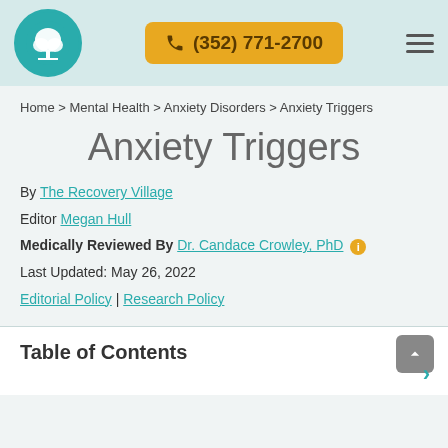(352) 771-2700
Home > Mental Health > Anxiety Disorders > Anxiety Triggers
Anxiety Triggers
By The Recovery Village
Editor Megan Hull
Medically Reviewed By Dr. Candace Crowley, PhD
Last Updated: May 26, 2022
Editorial Policy | Research Policy
Table of Contents